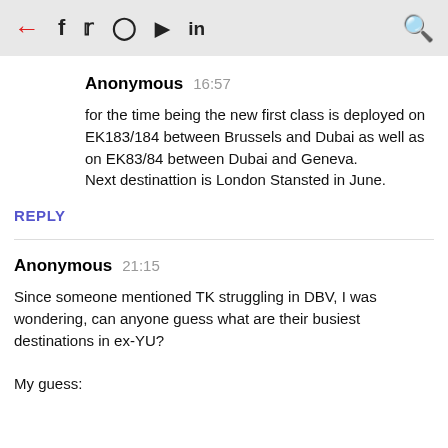← f 𝕏 ⊙ ▶ in 🔍
Anonymous 16:57
for the time being the new first class is deployed on EK183/184 between Brussels and Dubai as well as on EK83/84 between Dubai and Geneva.
Next destinattion is London Stansted in June.
REPLY
Anonymous 21:15
Since someone mentioned TK struggling in DBV, I was wondering, can anyone guess what are their busiest destinations in ex-YU?
My guess: